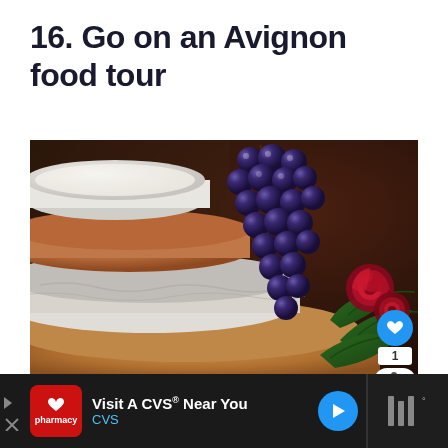16. Go on an Avignon food tour
[Figure (photo): Stack of French cheese wheels with dark grapes draped over them and red roses in the background, on a dark wooden surface]
[Figure (infographic): Advertisement bar: CVS pharmacy ad 'Visit A CVS® Near You' with logo, blue arrow button, and weather widget]